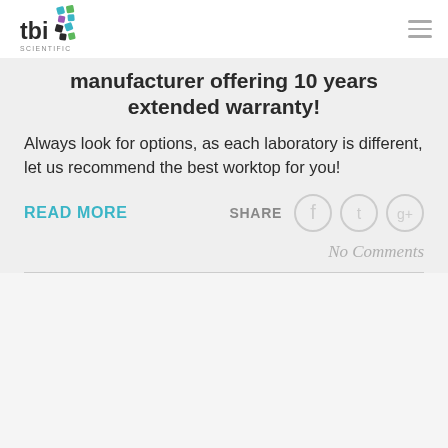tbi scientific
manufacturer offering 10 years extended warranty!
Always look for options, as each laboratory is different, let us recommend the best worktop for you!
READ MORE
SHARE
No Comments